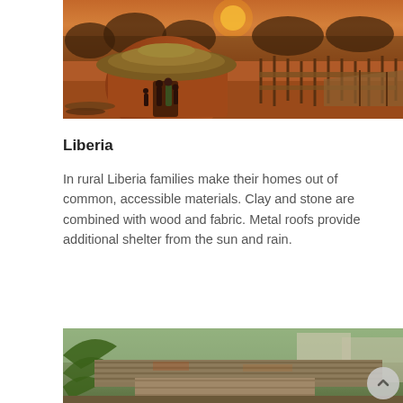[Figure (photo): Rural Liberia village scene at sunset: a round mud-and-thatch hut with a family of several people standing at the doorway, surrounded by red dirt ground and wooden fence structures]
Liberia
In rural Liberia families make their homes out of common, accessible materials. Clay and stone are combined with wood and fabric. Metal roofs provide additional shelter from the sun and rain.
[Figure (photo): Row of corrugated metal rooftops in what appears to be an urban or semi-urban Liberia setting, with palm fronds visible on the left and trees and buildings in the background]